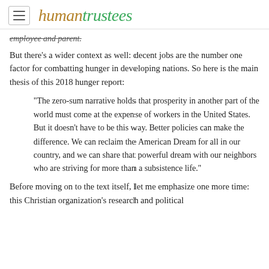human trustees
employee and parent.
But there’s a wider context as well: decent jobs are the number one factor for combatting hunger in developing nations. So here is the main thesis of this 2018 hunger report:
“The zero-sum narrative holds that prosperity in another part of the world must come at the expense of workers in the United States. But it doesn't have to be this way. Better policies can make the difference. We can reclaim the American Dream for all in our country, and we can share that powerful dream with our neighbors who are striving for more than a subsistence life.”
Before moving on to the text itself, let me emphasize one more time: this Christian organization’s research and political